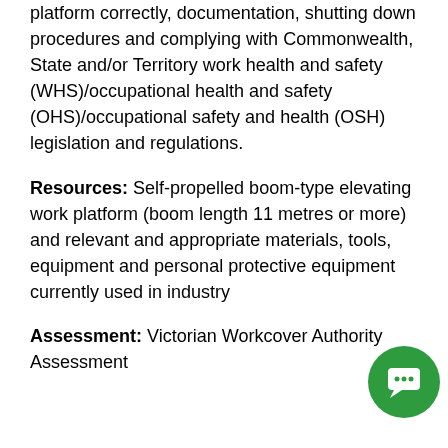platform correctly, documentation, shutting down procedures and complying with Commonwealth, State and/or Territory work health and safety (WHS)/occupational health and safety (OHS)/occupational safety and health (OSH) legislation and regulations.
Resources: Self-propelled boom-type elevating work platform (boom length 11 metres or more) and relevant and appropriate materials, tools, equipment and personal protective equipment currently used in industry
Assessment: Victorian Workcover Authority Assessment